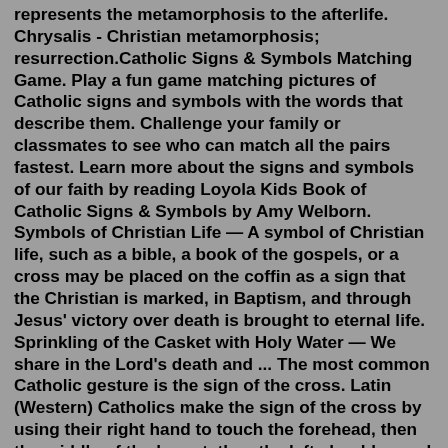represents the metamorphosis to the afterlife. Chrysalis - Christian metamorphosis; resurrection.Catholic Signs & Symbols Matching Game. Play a fun game matching pictures of Catholic signs and symbols with the words that describe them. Challenge your family or classmates to see who can match all the pairs fastest. Learn more about the signs and symbols of our faith by reading Loyola Kids Book of Catholic Signs & Symbols by Amy Welborn. Symbols of Christian Life — A symbol of Christian life, such as a bible, a book of the gospels, or a cross may be placed on the coffin as a sign that the Christian is marked, in Baptism, and through Jesus' victory over death is brought to eternal life. Sprinkling of the Casket with Holy Water — We share in the Lord's death and ... The most common Catholic gesture is the sign of the cross. Latin (Western) Catholics make the sign of the cross by using their right hand to touch the forehead, then the middle of the breast, then the left shoulder, and finally